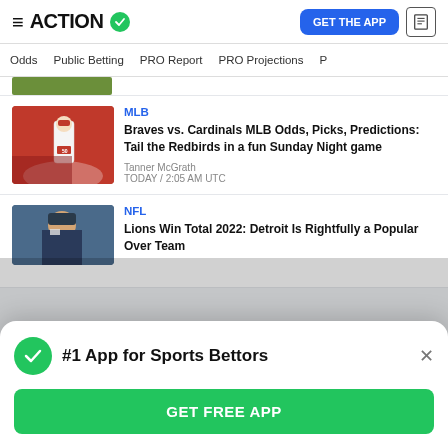ACTION — GET THE APP
Odds | Public Betting | PRO Report | PRO Projections
MLB
Braves vs. Cardinals MLB Odds, Picks, Predictions: Tail the Redbirds in a fun Sunday Night game
Tanner McGrath
TODAY / 2:05 AM UTC
NFL
Lions Win Total 2022: Detroit Is Rightfully a Popular Over Team
#1 App for Sports Bettors
GET FREE APP